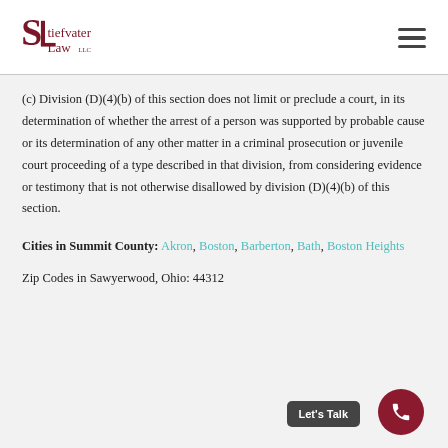Stiefvater Law LLC
(c) Division (D)(4)(b) of this section does not limit or preclude a court, in its determination of whether the arrest of a person was supported by probable cause or its determination of any other matter in a criminal prosecution or juvenile court proceeding of a type described in that division, from considering evidence or testimony that is not otherwise disallowed by division (D)(4)(b) of this section.
Cities in Summit County: Akron, Boston, Barberton, Bath, Boston Heights
Zip Codes in Sawyerwood, Ohio: 44312